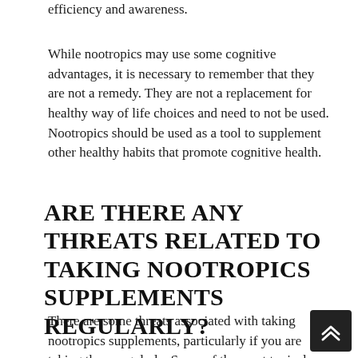efficiency and awareness.
While nootropics may use some cognitive advantages, it is necessary to remember that they are not a remedy. They are not a replacement for healthy way of life choices and need to not be used. Nootropics should be used as a tool to supplement other healthy habits that promote cognitive health.
ARE THERE ANY THREATS RELATED TO TAKING NOOTROPICS SUPPLEMENTS REGULARLY?
There are some threats associated with taking nootropics supplements, particularly if you are taking them regularly. Some of the most typical dangers consist of:.